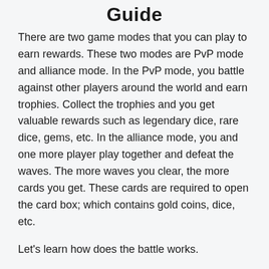Guide
There are two game modes that you can play to earn rewards. These two modes are PvP mode and alliance mode. In the PvP mode, you battle against other players around the world and earn trophies. Collect the trophies and you get valuable rewards such as legendary dice, rare dice, gems, etc. In the alliance mode, you and one more player play together and defeat the waves. The more waves you clear, the more cards you get. These cards are required to open the card box; which contains gold coins, dice, etc.
Let's learn how does the battle works.
Random Dice: PvP Defense Battle